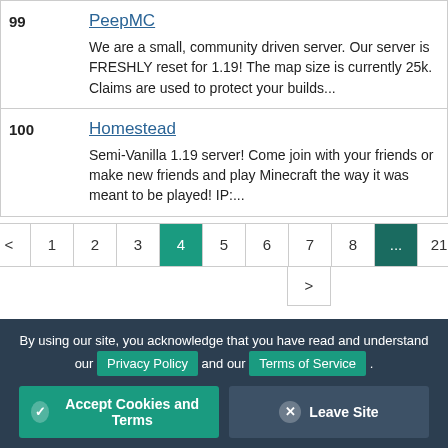| Rank | Server |
| --- | --- |
| 99 | PeepMC
We are a small, community driven server. Our server is FRESHLY reset for 1.19! The map size is currently 25k. Claims are used to protect your builds... |
| 100 | Homestead
Semi-Vanilla 1.19 server! Come join with your friends or make new friends and play Minecraft the way it was meant to be played! IP:... |
Pagination: < 1 2 3 4 5 6 7 8 ... 21 >
By using our site, you acknowledge that you have read and understand our Privacy Policy and our Terms of Service.
Accept Cookies and Terms | Leave Site